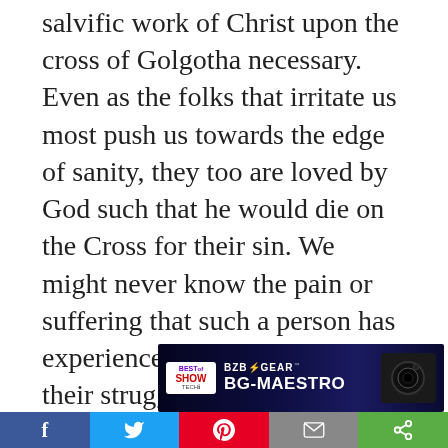salvific work of Christ upon the cross of Golgotha necessary. Even as the folks that irritate us most push us towards the edge of sanity, they too are loved by God such that he would die on the Cross for their sin. We might never know the pain or suffering that such a person has experienced that contributes to their struggles - so even as we seek to help them grow in Christ and lead well our ministry we must do so in a way that clearly communicates the grace and love of Christ our Savior.
[Figure (other): BZB Gear BG-Maestro advertisement banner with Best of Show Tech award badge and camera image on dark blue background]
Social sharing bar: Facebook, Twitter, Pinterest, Email, Share